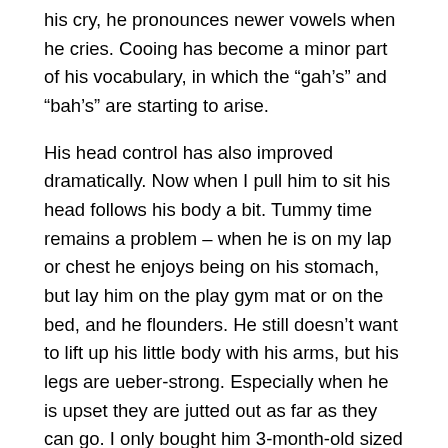his cry, he pronounces newer vowels when he cries. Cooing has become a minor part of his vocabulary, in which the “gah’s” and “bah’s” are starting to arise.
His head control has also improved dramatically. Now when I pull him to sit his head follows his body a bit. Tummy time remains a problem – when he is on my lap or chest he enjoys being on his stomach, but lay him on the play gym mat or on the bed, and he flounders. He still doesn’t want to lift up his little body with his arms, but his legs are ueber-strong. Especially when he is upset they are jutted out as far as they can go. I only bought him 3-month-old sized clothes from Carter’s 2 weeks ago and he is already starting to outgrow them. His little legs seem so long now. I don’t really understand where they find the sizing for these baby clothes by the way. But the Baby Gap stuff seems to be fitting him a little better and a little longer according to the size. Of course, mom doesn’t want to pay $20 for a pair of baby pants, especially when the clothes there probably cost more than her clothes do!!